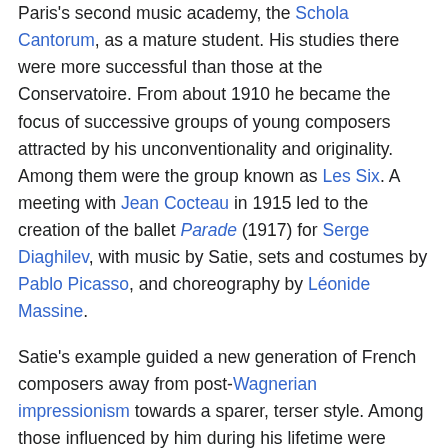Paris's second music academy, the Schola Cantorum, as a mature student. His studies there were more successful than those at the Conservatoire. From about 1910 he became the focus of successive groups of young composers attracted by his unconventionality and originality. Among them were the group known as Les Six. A meeting with Jean Cocteau in 1915 led to the creation of the ballet Parade (1917) for Serge Diaghilev, with music by Satie, sets and costumes by Pablo Picasso, and choreography by Léonide Massine.
Satie's example guided a new generation of French composers away from post-Wagnerian impressionism towards a sparer, terser style. Among those influenced by him during his lifetime were Maurice Ravel and Francis Poulenc, and he is seen as an influence on more recent, minimalist composers such as John Cage and John Adams. His harmony is often characterised by unresolved